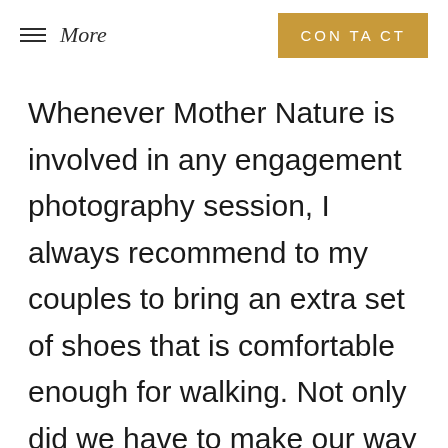≡ More | CONTACT
Whenever Mother Nature is involved in any engagement photography session, I always recommend to my couples to bring an extra set of shoes that is comfortable enough for walking. Not only did we have to make our way slowly down the hillside, but after we were finished we needed